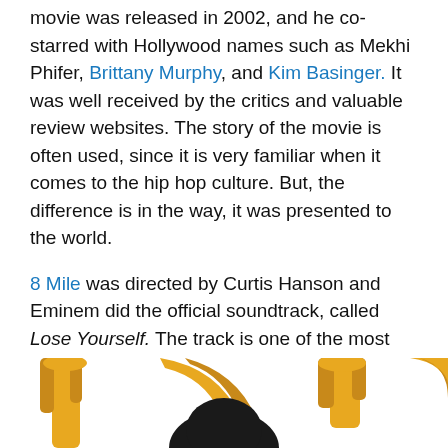movie was released in 2002, and he co-starred with Hollywood names such as Mekhi Phifer, Brittany Murphy, and Kim Basinger. It was well received by the critics and valuable review websites. The story of the movie is often used, since it is very familiar when it comes to the hip hop culture. But, the difference is in the way, it was presented to the world.
8 Mile was directed by Curtis Hanson and Eminem did the official soundtrack, called Lose Yourself. The track is one of the most significant rap songs since he won an Academy Award for Best Original Song. It made him the first hip hop artist to win an Oscar. His latest acting job was in the controversial movie The Interview, released in 2014.
LL Cool J
[Figure (illustration): Partial illustration of LL Cool J, showing a stylized graphic figure with gold/yellow decorative elements on a white background, partially cropped at the bottom of the page.]